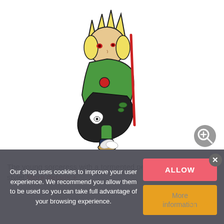[Figure (illustration): Anime-style chibi illustration of a young female sorceress character with blonde hair, wearing a green outfit with a red circle emblem, dark boots, and carrying a weapon, with a dark creature companion. White background. Zoom icon in bottom right.]
The young sorceress with a tormented personality in keychain style! More details +
Our shop uses cookies to improve your user experience. We recommend you allow them to be used so you can take full advantage of your browsing experience.